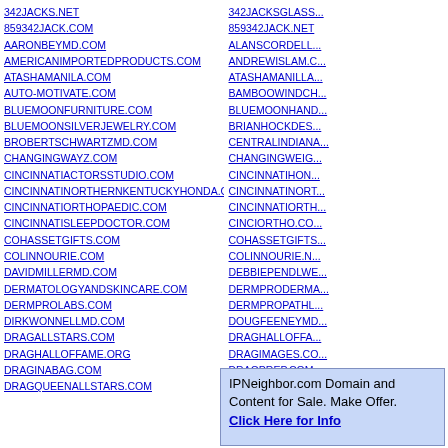342JACKS.NET
859342JACK.COM
AARONBEYMD.COM
AMERICANIMPORTEDPRODUCTS.COM
ATASHAMANILA.COM
AUTO-MOTIVATE.COM
BLUEMOONFURNITURE.COM
BLUEMOONSILVERJEWELRY.COM
BROBERTSCHWARTZMD.COM
CHANGINGWAYZ.COM
CINCINNATIACTORSSTUDIO.COM
CINCINNATINORTHERNKENTUCKYHONDA.COM
CINCINNATIORTHOPAEDIC.COM
CINCINNATISLEEPDOCTOR.COM
COHASSETGIFTS.COM
COLINNOURIE.COM
DAVIDMILLERMD.COM
DERMATOLOGYANDSKINCARE.COM
DERMPROLABS.COM
DIRKWONNELLMD.COM
DRAGALLSTARS.COM
DRAGHALLOFFAME.ORG
DRAGINABAG.COM
DRAGQUEENALLSTARS.COM
DRAGQUEENDIRECTORY.NET
DRAGQUEENPHOTOS.NET
DRAGQUEENVIDEOS.NET
DRAGSHOWCENTRAL.NET
342JACKSGLASS...
859342JACK.NET
ALANSCORDELL...
ANDREWISLAM.C...
ATASHAMANILLA...
BAMBOOWINDCH...
BLUEMOONHAND...
BRIANHOCKDES...
CENTRALINDIANA...
CHANGINGWEIG...
CINCINNATIHON...
CINCINNATINORT...
CINCINNATIORTH...
CINCIORTHO.CO...
COHASSETGIFTS...
COLINNOURIE.N...
DEBBIEPENDLWE...
DERMPRODERMA...
DERMPROPATHI...
DOUGFEENEYMD...
DRAGHALLOFFA...
DRAGIMAGES.CO...
DRAGPREP.COM
IPNeighbor.com Domain and Content for Sale. Make Offer. Click Here for Info